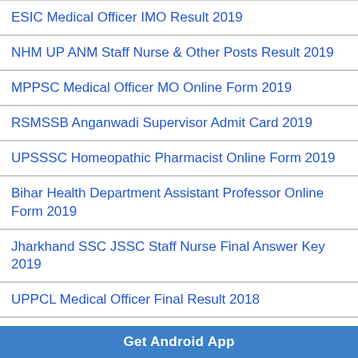ESIC Medical Officer IMO Result 2019
NHM UP ANM Staff Nurse & Other Posts Result 2019
MPPSC Medical Officer MO Online Form 2019
RSMSSB Anganwadi Supervisor Admit Card 2019
UPSSSC Homeopathic Pharmacist Online Form 2019
Bihar Health Department Assistant Professor Online Form 2019
Jharkhand SSC JSSC Staff Nurse Final Answer Key 2019
UPPCL Medical Officer Final Result 2018
NHM Tripura Community Health Officer Eligibility List 2018
Indian Army B.Sc Nursing Online Form 2019
UPUMS Etawah Staff Nurse Online Form 2018
NHM UP Specialists Online Form 2018
Get Android App